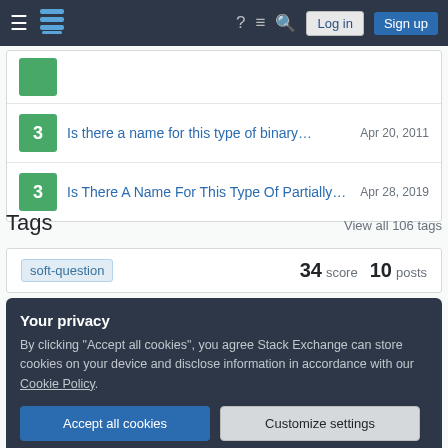Stack Exchange navigation bar with Log in and Sign up buttons
3 — Is there a name for this type of binary… — Apr 20, 2011
3 — Is There A Name For This Type Of Partially… — Apr 28, 2019
Tags
View all 106 tags
soft-question   34 score   10 posts
Your privacy
By clicking "Accept all cookies", you agree Stack Exchange can store cookies on your device and disclose information in accordance with our Cookie Policy.
Accept all cookies   Customize settings